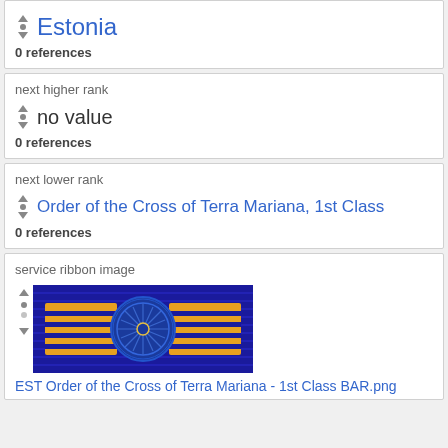Estonia
0 references
next higher rank
no value
0 references
next lower rank
Order of the Cross of Terra Mariana, 1st Class
0 references
service ribbon image
[Figure (photo): Service ribbon image: EST Order of the Cross of Terra Mariana - 1st Class BAR.png, a blue ribbon with yellow horizontal bars and a circular wheel/compass design in the center]
EST Order of the Cross of Terra Mariana - 1st Class BAR.png